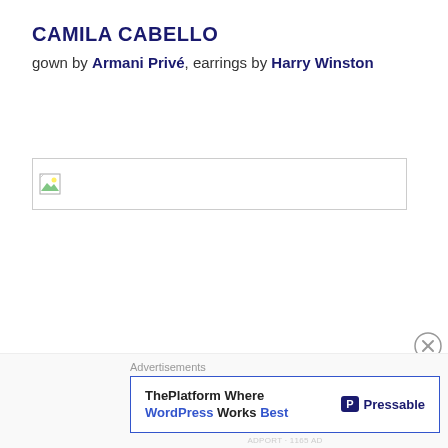CAMILA CABELLO
gown by Armani Privé, earrings by Harry Winston
[Figure (photo): Broken image placeholder box with missing image icon in top-left corner]
Advertisements
[Figure (other): Advertisement banner: ThePlatform Where WordPress Works Best | Pressable]